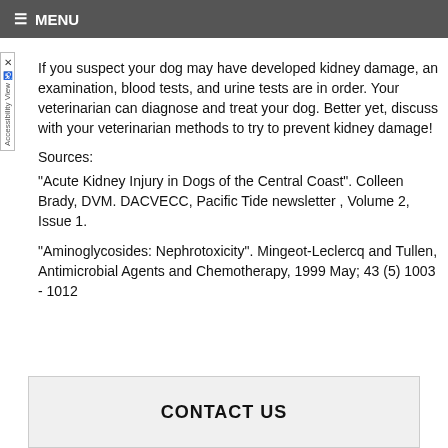≡ MENU
If you suspect your dog may have developed kidney damage, an examination, blood tests, and urine tests are in order. Your veterinarian can diagnose and treat your dog. Better yet, discuss with your veterinarian methods to try to prevent kidney damage!
Sources:
"Acute Kidney Injury in Dogs of the Central Coast". Colleen Brady, DVM. DACVECC, Pacific Tide newsletter , Volume 2, Issue 1.
"Aminoglycosides: Nephrotoxicity". Mingeot-Leclercq and Tullen, Antimicrobial Agents and Chemotherapy, 1999 May; 43 (5) 1003 - 1012
CONTACT US